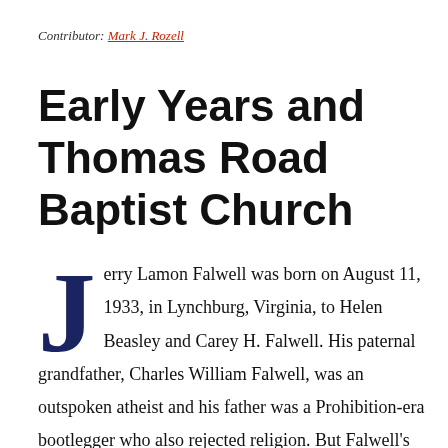Contributor: Mark J. Rozell
Early Years and Thomas Road Baptist Church
Jerry Lamon Falwell was born on August 11, 1933, in Lynchburg, Virginia, to Helen Beasley and Carey H. Falwell. His paternal grandfather, Charles William Falwell, was an outspoken atheist and his father was a Prohibition-era bootlegger who also rejected religion. But Falwell's mother was deeply religious and